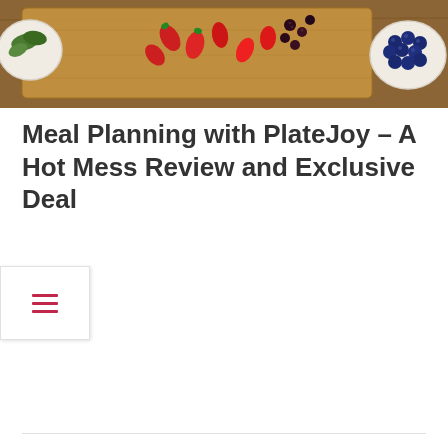[Figure (photo): Photo of a wooden cutting board with fresh strawberries and dark berries on it, a white bowl of blueberries on the right, and a partial white bowl with green leaves on the left, all on a warm brown/wood surface background.]
Meal Planning with PlateJoy – A Hot Mess Review and Exclusive Deal